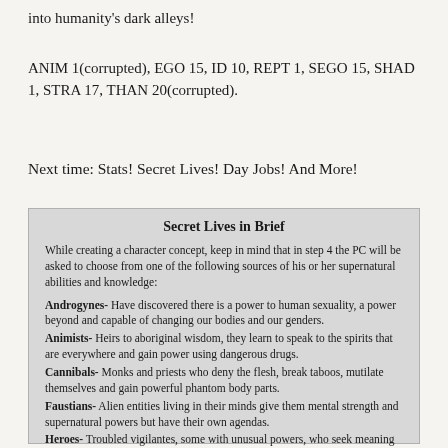into humanity's dark alleys!
ANIM 1(corrupted), EGO 15, ID 10, REPT 1, SEGO 15, SHAD 1, STRA 17, THAN 20(corrupted).
Next time: Stats! Secret Lives! Day Jobs! And More!
Secret Lives in Brief
While creating a character concept, keep in mind that in step 4 the PC will be asked to choose from one of the following sources of his or her supernatural abilities and knowledge:
Androgynes- Have discovered there is a power to human sexuality, a power beyond and capable of changing our bodies and our genders.
Animists- Heirs to aboriginal wisdom, they learn to speak to the spirits that are everywhere and gain power using dangerous drugs.
Cannibals- Monks and priests who deny the flesh, break taboos, mutilate themselves and gain powerful phantom body parts.
Faustians- Alien entities living in their minds give them mental strength and supernatural powers but have their own agendas.
Heroes- Troubled vigilantes, some with unusual powers, who seek meaning in life by hunting supernatural horrors.
Lost- Become lost, often while drunk, and end up wherever they want to be, sometimes even in places that don't exist in this world.